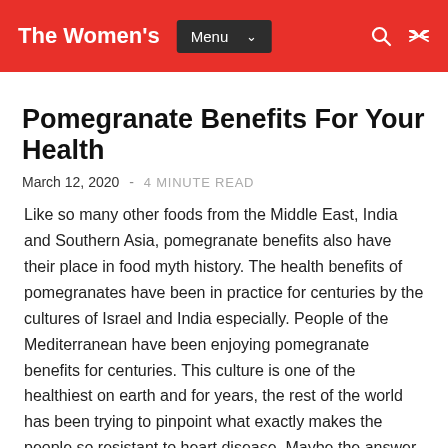The Women's | Menu | (search icon) (shuffle icon)
Pomegranate Benefits For Your Health
March 12, 2020  -  4 MINUTE READ
Like so many other foods from the Middle East, India and Southern Asia, pomegranate benefits also have their place in food myth history. The health benefits of pomegranates have been in practice for centuries by the cultures of Israel and India especially. People of the Mediterranean have been enjoying pomegranate benefits for centuries. This culture is one of the healthiest on earth and for years, the rest of the world has been trying to pinpoint what exactly makes the people so resistant to heart disease. Maybe the answer lies in the unassuming pomegranate or perhaps it's just good genetics. No one knows for